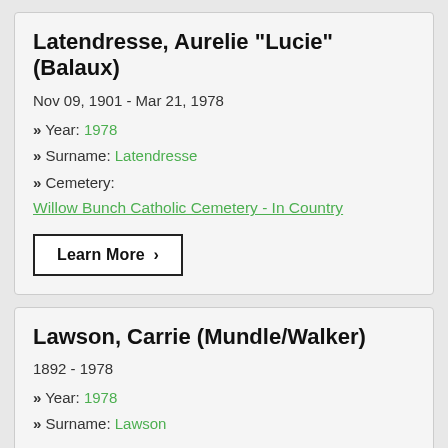Latendresse, Aurelie "Lucie" (Balaux)
Nov 09, 1901 - Mar 21, 1978
» Year: 1978
» Surname: Latendresse
» Cemetery: Willow Bunch Catholic Cemetery - In Country
Learn More >
Lawson, Carrie (Mundle/Walker)
1892 - 1978
» Year: 1978
» Surname: Lawson